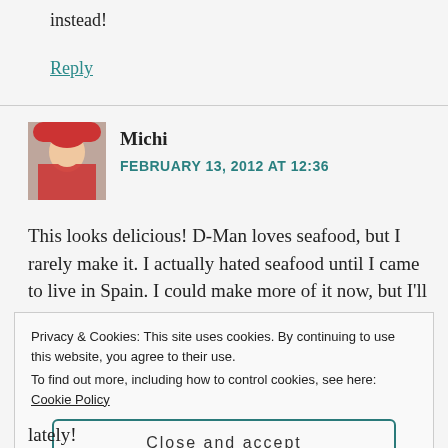instead!
Reply
[Figure (photo): Avatar photo of commenter Michi, showing a person in a red hood/jacket]
Michi
FEBRUARY 13, 2012 AT 12:36
This looks delicious! D-Man loves seafood, but I rarely make it. I actually hated seafood until I came to live in Spain. I could make more of it now, but I'll
Privacy & Cookies: This site uses cookies. By continuing to use this website, you agree to their use.
To find out more, including how to control cookies, see here: Cookie Policy
Close and accept
lately!